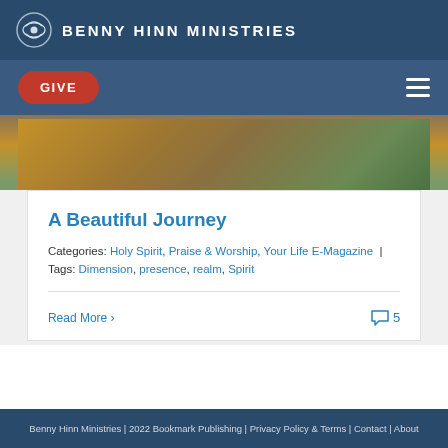BENNY HINN MINISTRIES
GIVE
[Figure (photo): Outdoor landscape photo showing arid terrain with shrubs and trees, orange-brown earth tones]
A Beautiful Journey
Categories: Holy Spirit, Praise & Worship, Your Life E-Magazine | Tags: Dimension, presence, realm, Spirit
Read More >
5
Benny Hinn Ministries | 2022 Bookmark Publishing | Privacy Policy & Terms | Contact | About